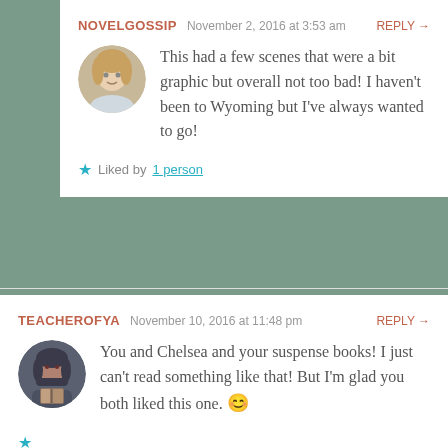NOVELGOSSIP   November 2, 2016 at 3:53 am   REPLY →
This had a few scenes that were a bit graphic but overall not too bad! I haven't been to Wyoming but I've always wanted to go!
★ Liked by 1 person
TEACHEROFYA   November 10, 2016 at 11:48 pm   REPLY →
You and Chelsea and your suspense books! I just can't read something like that! But I'm glad you both liked this one. 😊